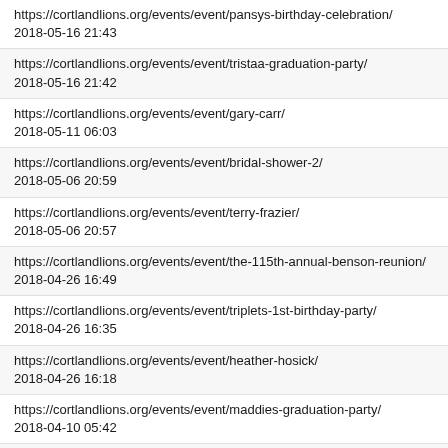https://cortlandlions.org/events/event/pansys-birthday-celebration/
2018-05-16 21:43
https://cortlandlions.org/events/event/tristaa-graduation-party/
2018-05-16 21:42
https://cortlandlions.org/events/event/gary-carr/
2018-05-11 06:03
https://cortlandlions.org/events/event/bridal-shower-2/
2018-05-06 20:59
https://cortlandlions.org/events/event/terry-frazier/
2018-05-06 20:57
https://cortlandlions.org/events/event/the-115th-annual-benson-reunion/
2018-04-26 16:49
https://cortlandlions.org/events/event/triplets-1st-birthday-party/
2018-04-26 16:35
https://cortlandlions.org/events/event/heather-hosick/
2018-04-26 16:18
https://cortlandlions.org/events/event/maddies-graduation-party/
2018-04-10 05:42
https://cortlandlions.org/events/event/amanda/
2018-04-10 05:41
https://cortlandlions.org/events/event/tiffany-howard/
2018-03-26 17:45
https://cortlandlions.org/events/event/gates-dinneen-family-reunion/
2018-03-25 20:53
https://cortlandlions.org/events/event/schramer-family-reunion-2/